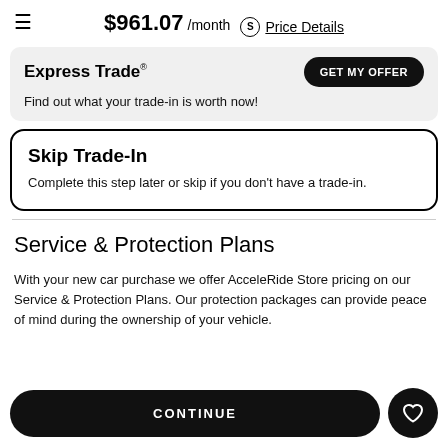$961.07 /month Price Details
Express Trade® — GET MY OFFER
Find out what your trade-in is worth now!
Skip Trade-In
Complete this step later or skip if you don't have a trade-in.
Service & Protection Plans
With your new car purchase we offer AcceleRide Store pricing on our Service & Protection Plans. Our protection packages can provide peace of mind during the ownership of your vehicle.
CONTINUE